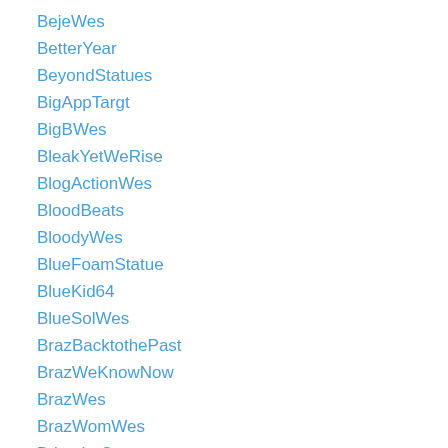BejeWes
BetterYear
BeyondStatues
BigAppTargt
BigBWes
BleakYetWeRise
BlogActionWes
BloodBeats
BloodyWes
BlueFoamStatue
BlueKid64
BlueSolWes
BrazBacktothePast
BrazWeKnowNow
BrazWes
BrazWomWes
BringtheCrew
BrusLawes
Brutal2018
Burning Wes